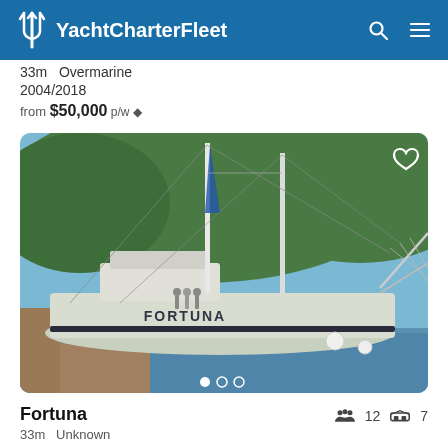YachtCharterFleet
33m  Overmarine
2004/2018
from $50,000 p/w ♦
[Figure (photo): Sailing yacht named FORTUNA moored at a dock, with two masts and rigging visible, green forested hillside in background, blue sky, bowsprit with net extending to right]
Fortuna
33m  Unknown
12  7